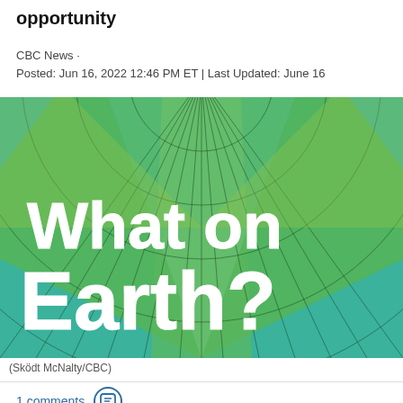opportunity
CBC News ·
Posted: Jun 16, 2022 12:46 PM ET | Last Updated: June 16
[Figure (illustration): CBC 'What on Earth?' podcast artwork showing a stylized globe with green and blue geometric grid lines radiating from the top, with white bold text reading 'What on Earth?' overlaid on the design.]
(Sködt McNalty/CBC)
1 comments